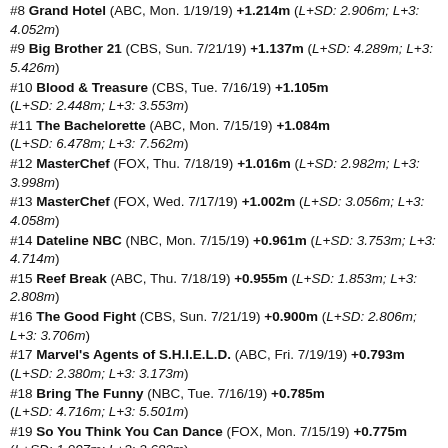#8 Grand Hotel (ABC, Mon. 7/19/19) +1.214m (L+SD: 2.906m; L+3: 4.052m)
#9 Big Brother 21 (CBS, Sun. 7/21/19) +1.137m (L+SD: 4.289m; L+3: 5.426m)
#10 Blood & Treasure (CBS, Tue. 7/16/19) +1.105m (L+SD: 2.448m; L+3: 3.553m)
#11 The Bachelorette (ABC, Mon. 7/15/19) +1.084m (L+SD: 6.478m; L+3: 7.562m)
#12 MasterChef (FOX, Thu. 7/18/19) +1.016m (L+SD: 2.982m; L+3: 3.998m)
#13 MasterChef (FOX, Wed. 7/17/19) +1.002m (L+SD: 3.056m; L+3: 4.058m)
#14 Dateline NBC (NBC, Mon. 7/15/19) +0.961m (L+SD: 3.753m; L+3: 4.714m)
#15 Reef Break (ABC, Thu. 7/18/19) +0.955m (L+SD: 1.853m; L+3: 2.808m)
#16 The Good Fight (CBS, Sun. 7/21/19) +0.900m (L+SD: 2.806m; L+3: 3.706m)
#17 Marvel's Agents of S.H.I.E.L.D. (ABC, Fri. 7/19/19) +0.793m (L+SD: 2.380m; L+3: 3.173m)
#18 Bring The Funny (NBC, Tue. 7/16/19) +0.785m (L+SD: 4.716m; L+3: 5.501m)
#19 So You Think You Can Dance (FOX, Mon. 7/15/19) +0.775m (L+SD: 1.907m; L+3: 2.682m)
#20 The 100 (CW, Tue. 7/16/19) +0.527m (L+SD: 0.572m; L+3: 1.099m)
#21 Celebrity Family Feud (ABC, Sun. 7/21/19) +0.523m (L+SD: 5.523m; L+3: 6.046m)
#22 Love Island (P) (CBS, Mon. 7/15/19) +0.497m (L+SD: